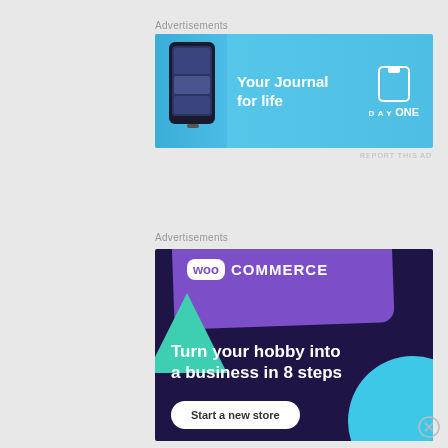Advertisements
[Figure (illustration): DayOne app advertisement banner with cyan/blue background, phone graphic on left, 'Your Journal for life' text in white, and DayOne logo on right]
REPORT THIS AD
Advertisements
[Figure (illustration): WooCommerce advertisement with dark purple background, WooCommerce logo on purple card, teal triangle shape, cyan circle, headline 'Turn your hobby into a business in 8 steps', and white 'Start a new store' button]